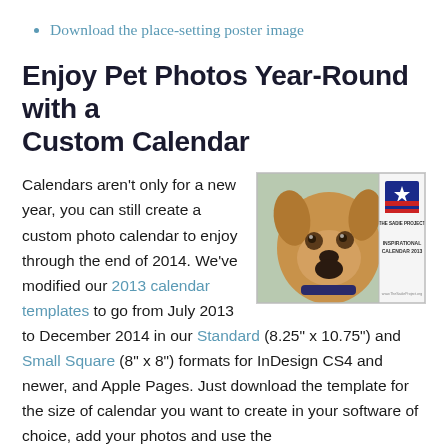Download the place-setting poster image
Enjoy Pet Photos Year-Round with a Custom Calendar
[Figure (photo): A custom inspirational pet calendar featuring a dog photo on a light green background, with 'The Sadie Project' logo and text 'INSPIRATIONAL CALENDAR 2013' on the right side.]
Calendars aren’t only for a new year, you can still create a custom photo calendar to enjoy through the end of 2014. We’ve modified our 2013 calendar templates to go from July 2013 to December 2014 in our Standard (8.25" x 10.75") and Small Square (8" x 8") formats for InDesign CS4 and newer, and Apple Pages. Just download the template for the size of calendar you want to create in your software of choice, add your photos and use the